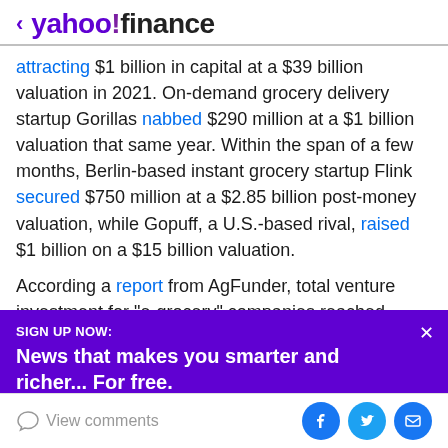< yahoo!finance
attracting $1 billion in capital at a $39 billion valuation in 2021. On-demand grocery delivery startup Gorillas nabbed $290 million at a $1 billion valuation that same year. Within the span of a few months, Berlin-based instant grocery startup Flink secured $750 million at a $2.85 billion post-money valuation, while Gopuff, a U.S.-based rival, raised $1 billion on a $15 billion valuation.
According a report from AgFunder, total venture investment for "e-grocery" companies reached $18.5
SIGN UP NOW:
News that makes you smarter and richer... For free.
View comments